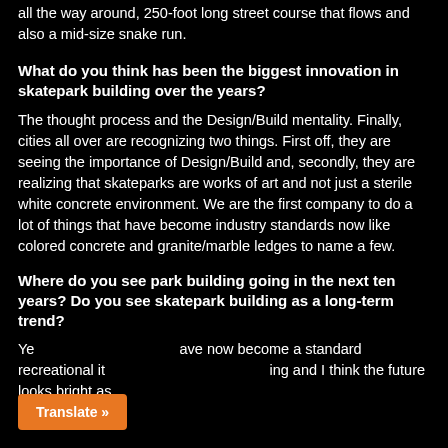all the way around, 250-foot long street course that flows and also a mid-size snake run.
What do you think has been the biggest innovation in skatepark building over the years?
The thought process and the Design/Build mentality. Finally, cities all over are recognizing two things. First off, they are seeing the importance of Design/Build and, secondly, they are realizing that skateparks are works of art and not just a sterile white concrete environment. We are the first company to do a lot of things that have become industry standards now like colored concrete and granite/marble ledges to name a few.
Where do you see park building going in the next ten years? Do you see skatepark building as a long-term trend?
Ye... have now become a standard recreational it... ing and I think the future looks bright as
Translate »